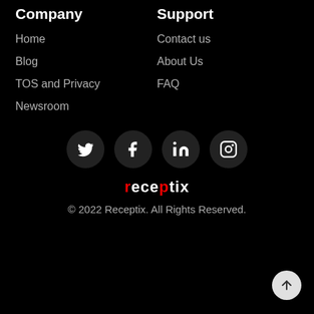Company
Home
Blog
TOS and Privacy
Newsroom
Support
Contact us
About Us
FAQ
[Figure (logo): Social media icons: Twitter, Facebook, LinkedIn, Instagram in dark circular buttons]
receptix (logo with red dot on letter i)
© 2022 Receptix. All Rights Reserved.